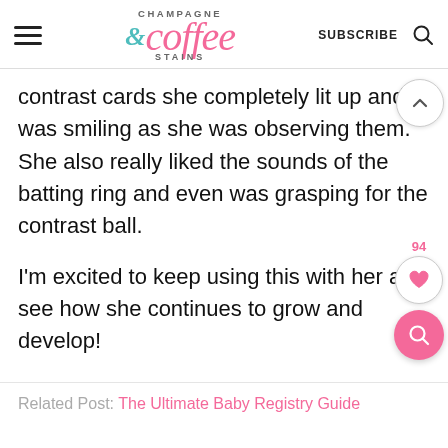CHAMPAGNE & coffee STAINS — SUBSCRIBE
contrast cards she completely lit up and was smiling as she was observing them. She also really liked the sounds of the batting ring and even was grasping for the contrast ball.
I'm excited to keep using this with her and see how she continues to grow and develop!
Related Post: The Ultimate Baby Registry Guide